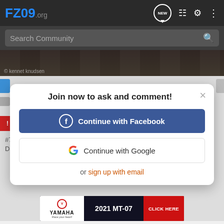FZ09.org
Search Community
[Figure (screenshot): Dark photo of road/pavement with © kennet knudsen credit]
[Figure (screenshot): Modal dialog: Join now to ask and comment! with Continue with Facebook, Continue with Google, or sign up with email options]
#7
Damn, you guys are getting very good at this photo stuff.
[Figure (other): Yamaha advertisement: 2021 MT-07 CLICK HERE]